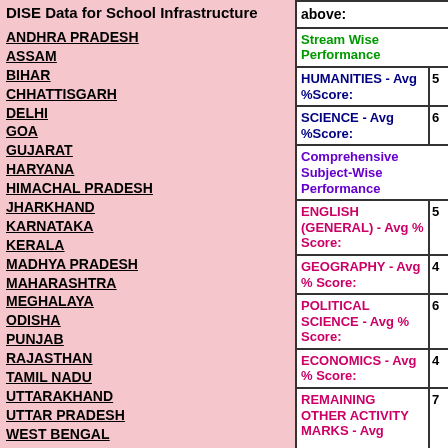DISE Data for School Infrastructure
ANDHRA PRADESH
ASSAM
BIHAR
CHHATTISGARH
DELHI
GOA
GUJARAT
HARYANA
HIMACHAL PRADESH
JHARKHAND
KARNATAKA
KERALA
MADHYA PRADESH
MAHARASHTRA
MEGHALAYA
ODISHA
PUNJAB
RAJASTHAN
TAMIL NADU
UTTARAKHAND
UTTAR PRADESH
WEST BENGAL
| Category | Value |
| --- | --- |
| above: |  |
| Stream Wise Performance |  |
| HUMANITIES - Avg %Score: | 5 |
| SCIENCE - Avg %Score: | 6 |
| Comprehensive Subject-Wise Performance |  |
| ENGLISH (GENERAL) - Avg % Score: | 5 |
| GEOGRAPHY - Avg % Score: | 4 |
| POLITICAL SCIENCE - Avg % Score: | 6 |
| ECONOMICS - Avg % Score: | 4 |
| REMAINING OTHER ACTIVITY MARKS - Avg | 7 |